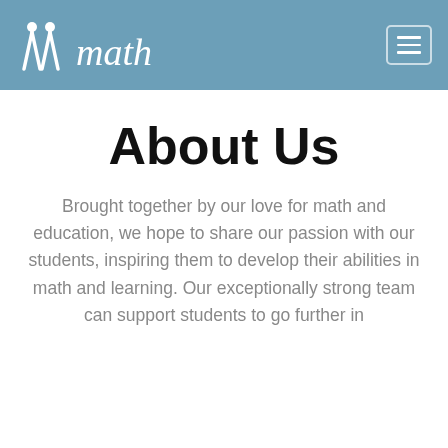TTmath
About Us
Brought together by our love for math and education, we hope to share our passion with our students, inspiring them to develop their abilities in math and learning. Our exceptionally strong team can support students to go further in